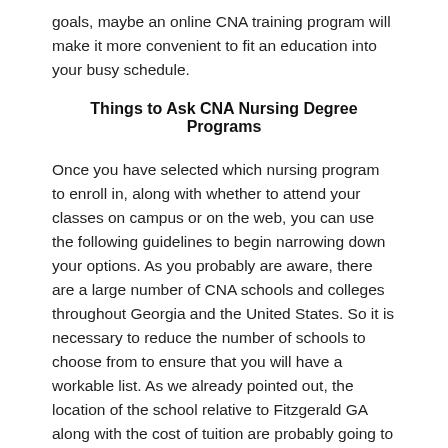goals, maybe an online CNA training program will make it more convenient to fit an education into your busy schedule.
Things to Ask CNA Nursing Degree Programs
Once you have selected which nursing program to enroll in, along with whether to attend your classes on campus or on the web, you can use the following guidelines to begin narrowing down your options. As you probably are aware, there are a large number of CNA schools and colleges throughout Georgia and the United States. So it is necessary to reduce the number of schools to choose from to ensure that you will have a workable list. As we already pointed out, the location of the school relative to Fitzgerald GA along with the cost of tuition are probably going to be the initial two things that you will consider. But as we also stressed, they should not be your sole qualifiers. So prior to making your ultimate decision, use the following questions to evaluate how you might approach the field.